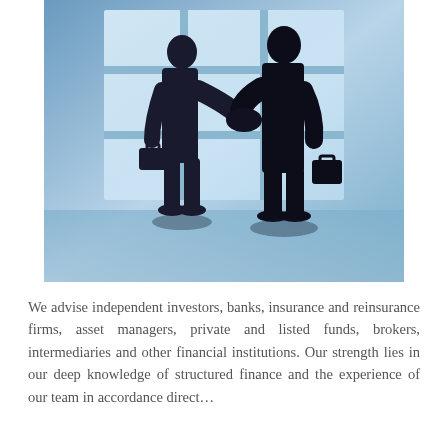[Figure (photo): Silhouette of two businesspeople shaking hands in front of a bright window with grid panes, each holding a briefcase, blue-toned blurred background]
We advise independent investors, banks, insurance and reinsurance firms, asset managers, private and listed funds, brokers, intermediaries and other financial institutions. Our strength lies in our deep knowledge of structured finance and the experience of our team in accordance direct...